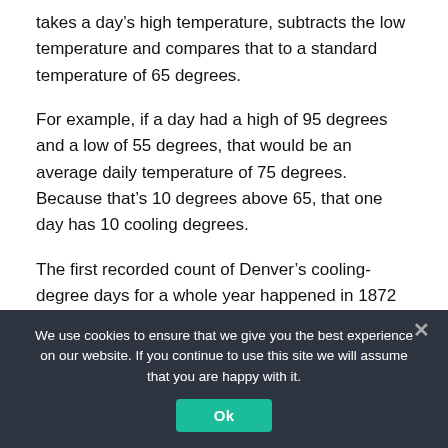takes a day's high temperature, subtracts the low temperature and compares that to a standard temperature of 65 degrees.
For example, if a day had a high of 95 degrees and a low of 55 degrees, that would be an average daily temperature of 75 degrees. Because that's 10 degrees above 65, that one day has 10 cooling degrees.
The first recorded count of Denver's cooling-degree days for a whole year happened in 1872 with 475
We use cookies to ensure that we give you the best experience on our website. If you continue to use this site we will assume that you are happy with it.